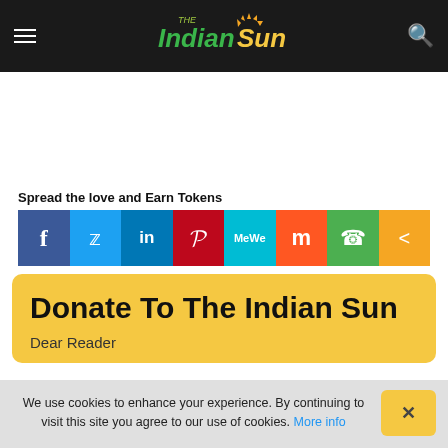The Indian Sun
[Figure (logo): The Indian Sun newspaper logo with green and yellow stylized text]
Spread the love and Earn Tokens
[Figure (infographic): Social share buttons: Facebook, Twitter, LinkedIn, Pinterest, MeWe, Mix, WhatsApp, Share]
Donate To The Indian Sun
Dear Reader
We use cookies to enhance your experience. By continuing to visit this site you agree to our use of cookies. More info